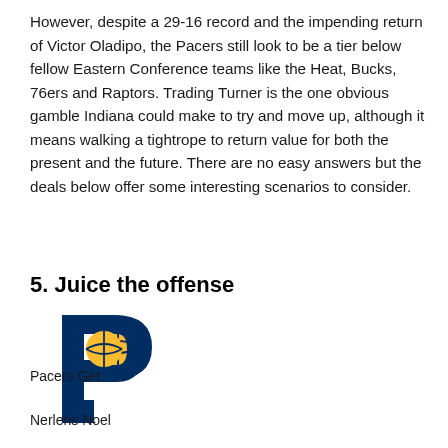However, despite a 29-16 record and the impending return of Victor Oladipo, the Pacers still look to be a tier below fellow Eastern Conference teams like the Heat, Bucks, 76ers and Raptors. Trading Turner is the one obvious gamble Indiana could make to try and move up, although it means walking a tightrope to return value for both the present and the future. There are no easy answers but the deals below offer some interesting scenarios to consider.
5. Juice the offense
[Figure (logo): Indiana Pacers logo: navy blue stylized letter P with gold basketball]
Pacers Get
Nerlens Noel